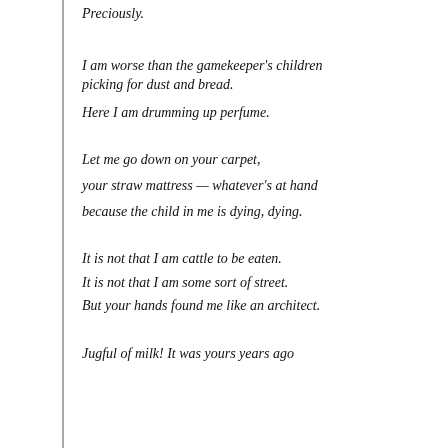Preciously.
I am worse than the gamekeeper's children
picking for dust and bread.
Here I am drumming up perfume.
Let me go down on your carpet,
your straw mattress — whatever's at hand
because the child in me is dying, dying.
It is not that I am cattle to be eaten.
It is not that I am some sort of street.
But your hands found me like an architect.
Jugful of milk! It was yours years ago